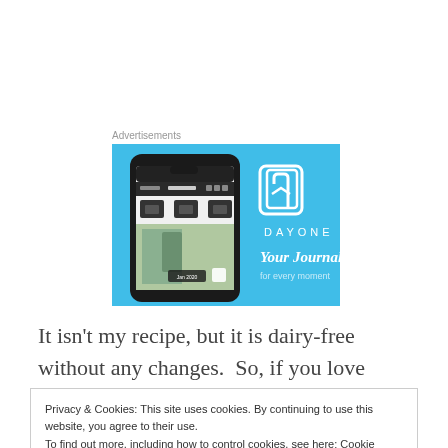Advertisements
[Figure (screenshot): DayOne journal app advertisement banner with light blue background showing a smartphone with journal app interface on left and 'DAYONE Your Journal' text with book icon on right]
It isn't my recipe, but it is dairy-free without any changes.  So, if you love cranberries....or if you think
Privacy & Cookies: This site uses cookies. By continuing to use this website, you agree to their use.
To find out more, including how to control cookies, see here: Cookie Policy

Close and accept